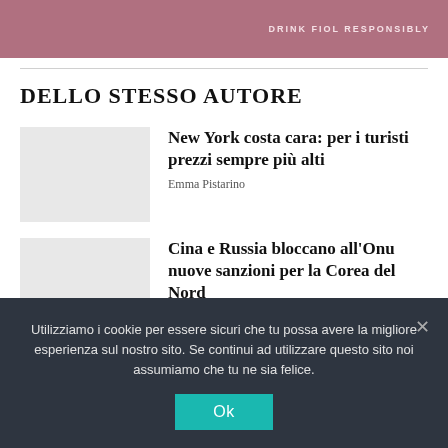[Figure (photo): Advertisement banner with pink/mauve background and text 'DRINK FIOL RESPONSIBLY']
DELLO STESSO AUTORE
[Figure (photo): Thumbnail image placeholder for article about New York]
New York costa cara: per i turisti prezzi sempre più alti
Emma Pistarino
[Figure (photo): Thumbnail image placeholder for article about China and Russia]
Cina e Russia bloccano all'Onu nuove sanzioni per la Corea del Nord
Utilizziamo i cookie per essere sicuri che tu possa avere la migliore esperienza sul nostro sito. Se continui ad utilizzare questo sito noi assumiamo che tu ne sia felice.